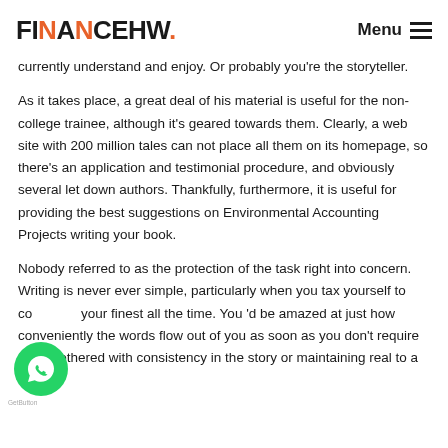FINANCEHW. Menu
currently understand and enjoy. Or probably you're the storyteller.
As it takes place, a great deal of his material is useful for the non-college trainee, although it's geared towards them. Clearly, a web site with 200 million tales can not place all them on its homepage, so there's an application and testimonial procedure, and obviously several let down authors. Thankfully, furthermore, it is useful for providing the best suggestions on Environmental Accounting Projects writing your book.
Nobody referred to as the protection of the task right into concern. Writing is never ever simple, particularly when you tax yourself to come your finest all the time. You 'd be amazed at just how conveniently the words flow out of you as soon as you don't require to be bothered with consistency in the story or maintaining real to a